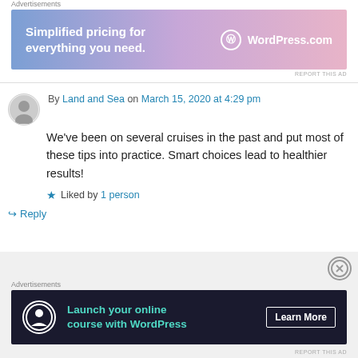Advertisements
[Figure (illustration): WordPress.com advertisement banner: 'Simplified pricing for everything you need.' with WordPress.com logo on gradient purple-pink background]
REPORT THIS AD
By Land and Sea on March 15, 2020 at 4:29 pm
We've been on several cruises in the past and put most of these tips into practice. Smart choices lead to healthier results!
Liked by 1 person
Reply
Advertisements
[Figure (illustration): WordPress.com dark banner ad: 'Launch your online course with WordPress' with Learn More button]